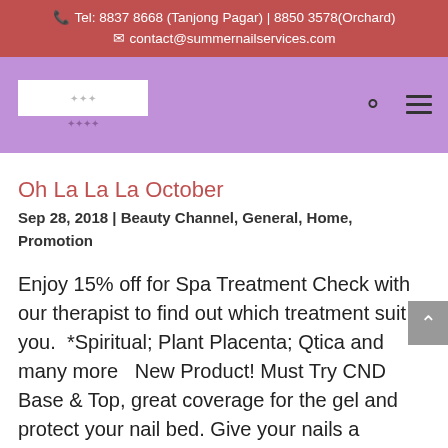Tel: 8837 8668 (Tanjong Pagar) | 8850 3578(Orchard)
contact@summernailservices.com
[Figure (logo): Summer Nail Services logo in white box on purple navigation bar with search and menu icons]
Oh La La La October
Sep 28, 2018 | Beauty Channel, General, Home, Promotion
Enjoy 15% off for Spa Treatment Check with our therapist to find out which treatment suit you.  *Spiritual; Plant Placenta; Qtica and many more   New Product! Must Try CND Base & Top, great coverage for the gel and protect your nail bed. Give your nails a